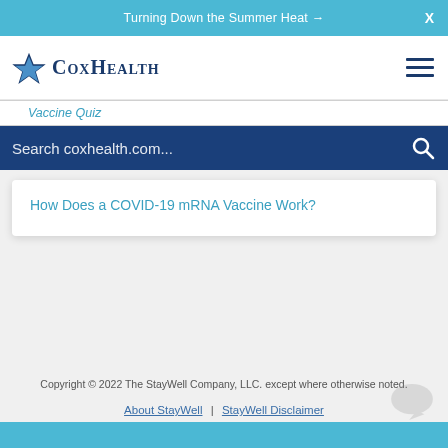Turning Down the Summer Heat →
[Figure (logo): CoxHealth logo with blue star/sparkle icon and serif text COXHEALTH]
Vaccine Quiz
Search coxhealth.com...
How Does a COVID-19 mRNA Vaccine Work?
Copyright © 2022 The StayWell Company, LLC. except where otherwise noted.
About StayWell | StayWell Disclaimer